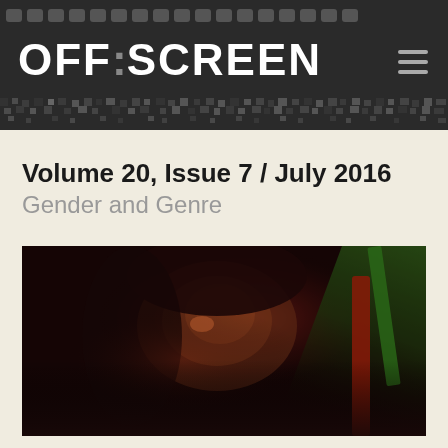OFF|SCREEN
Volume 20, Issue 7 / July 2016
Gender and Genre
[Figure (photo): Dark cinematic still of a person's face illuminated by red and green light, viewed through glass, moody low-key lighting]